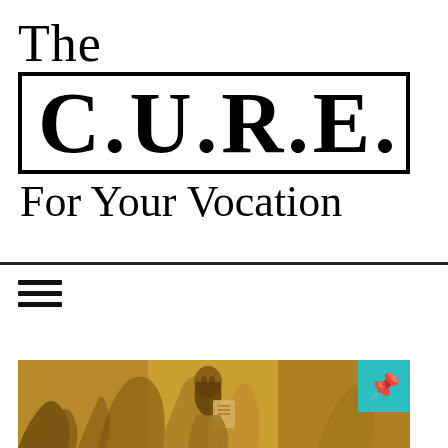The C.U.R.E. For Your Vocation
[Figure (illustration): Religious or historical artwork showing a figure (possibly a saint or apostle) depicted in Byzantine/medieval style with warm golden-brown tones, partially visible at the bottom of the page. A teal/cyan pin icon overlay appears in the top-right corner of the image.]